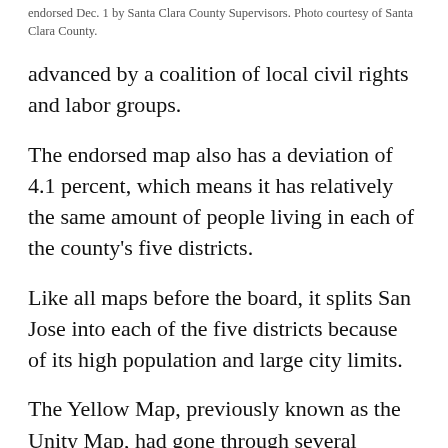endorsed Dec. 1 by Santa Clara County Supervisors. Photo courtesy of Santa Clara County.
advanced by a coalition of local civil rights and labor groups.
The endorsed map also has a deviation of 4.1 percent, which means it has relatively the same amount of people living in each of the county's five districts.
Like all maps before the board, it splits San Jose into each of the five districts because of its high population and large city limits.
The Yellow Map, previously known as the Unity Map, had gone through several variations. At the Dec. 8 board meeting, supervisors considered nine different maps.